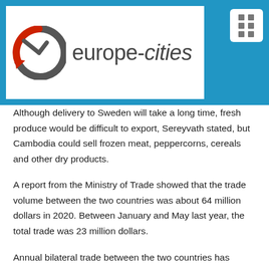[Figure (logo): europe-cities logo with circular arrow icon on white background, set against blue header bar with menu icon in top right]
Although delivery to Sweden will take a long time, fresh produce would be difficult to export, Sereyvath stated, but Cambodia could sell frozen meat, peppercorns, cereals and other dry products.
A report from the Ministry of Trade showed that the trade volume between the two countries was about 64 million dollars in 2020. Between January and May last year, the total trade was 23 million dollars.
Annual bilateral trade between the two countries has remained tilted in the UK's favor in recent years, although imports from Cambodia increased by 39 percent to $ 11.99 million in 2020 compared to a year earlier, according to Trading Economics.